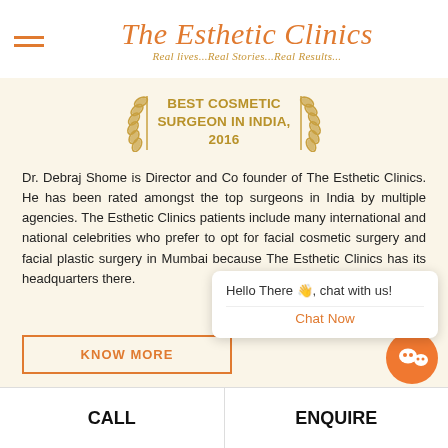[Figure (logo): The Esthetic Clinics logo with tagline 'Real lives...Real Stories...Real Results...' in orange italic script]
[Figure (infographic): Award badge with laurel wreaths: BEST COSMETIC SURGEON IN INDIA, 2016 in gold bold text]
Dr. Debraj Shome is Director and Co founder of The Esthetic Clinics. He has been rated amongst the top surgeons in India by multiple agencies. The Esthetic Clinics patients include many international and national celebrities who prefer to opt for facial cosmetic surgery and facial plastic surgery in Mumbai because The Esthetic Clinics has its headquarters there.
[Figure (screenshot): Chat popup with text 'Hello There, chat with us!' and 'Chat Now' button in orange]
KNOW MORE
CALL
ENQUIRE